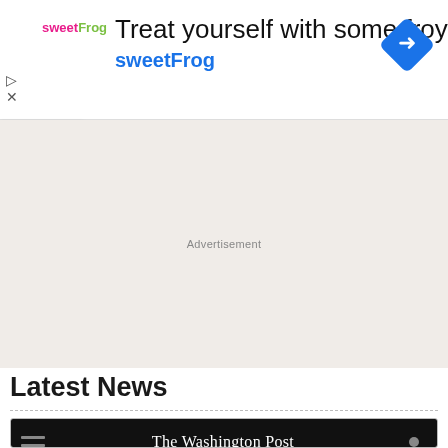[Figure (screenshot): SweetFrog advertisement banner with logo, text 'Treat yourself with some froyo sweetFrog', and a blue diamond navigation icon on the right. Play and close controls on left.]
[Figure (screenshot): Beige/tan advertisement placeholder area with 'Advertisement' label in center]
Latest News
[Figure (screenshot): Washington Post website screenshot showing the header/masthead with the newspaper's name in serif font on dark background, and a blurred article image below]